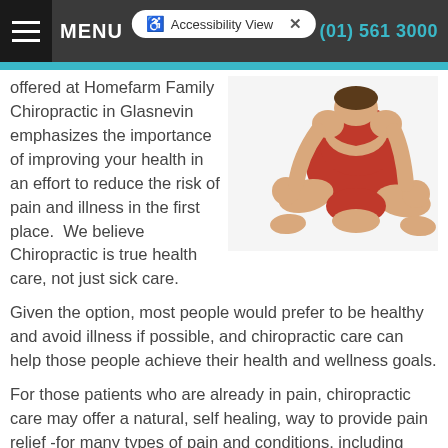MENU | Accessibility View | (01) 561 3000
[Figure (photo): Person in red shorts sitting cross-legged on white background, viewed from behind/side, performing a stretching or yoga pose.]
offered at Homefarm Family Chiropractic in Glasnevin emphasizes the importance of improving your health in an effort to reduce the risk of pain and illness in the first place. We believe Chiropractic is true health care, not just sick care.
Given the option, most people would prefer to be healthy and avoid illness if possible, and chiropractic care can help those people achieve their health and wellness goals.
For those patients who are already in pain, chiropractic care may offer a natural, self healing, way to provide pain relief -for many types of pain and conditions, including back pain, neck pain and more!